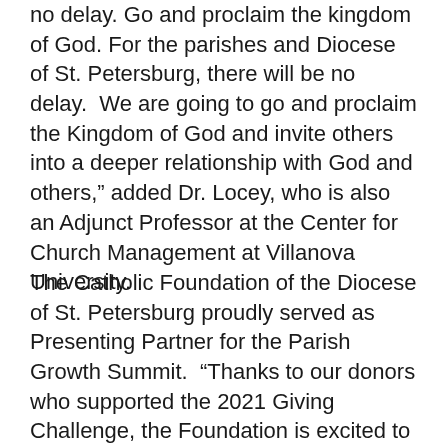no delay. Go and proclaim the kingdom of God. For the parishes and Diocese of St. Petersburg, there will be no delay. We are going to go and proclaim the Kingdom of God and invite others into a deeper relationship with God and others,” added Dr. Locey, who is also an Adjunct Professor at the Center for Church Management at Villanova University.
The Catholic Foundation of the Diocese of St. Petersburg proudly served as Presenting Partner for the Parish Growth Summit. “Thanks to our donors who supported the 2021 Giving Challenge, the Foundation is excited to partner and support this essential work,” shared Meegan Wright, Executive Director of the Catholic Foundation and emcee for the summit. “Based on the enthusiasm and energy created through this summit, we know this is just